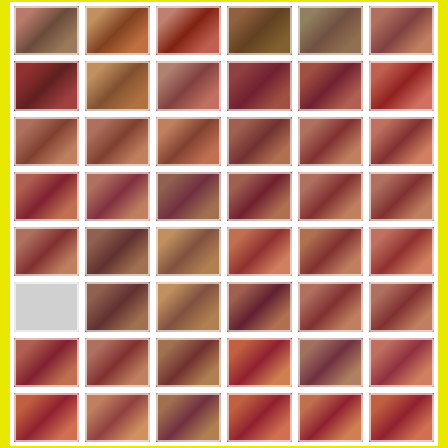[Figure (photo): Grid of 48 thumbnail photographs arranged in 8 rows and 6 columns showing people at what appears to be a children's party or entertainment event. A performer in a pink/magenta apron over a light blue shirt appears in many of the photos performing various acts. Yellow border visible on left and right edges of page.]